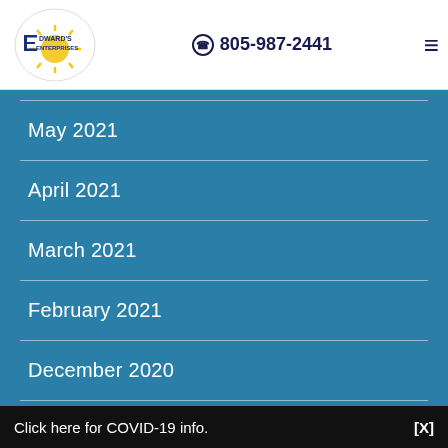[Figure (logo): Edward's Enterprises logo - circular white background with company name and sun/rays graphic]
805-987-2441
May 2021
April 2021
March 2021
February 2021
December 2020
November 2020
Click here for COVID-19 info.  [X]